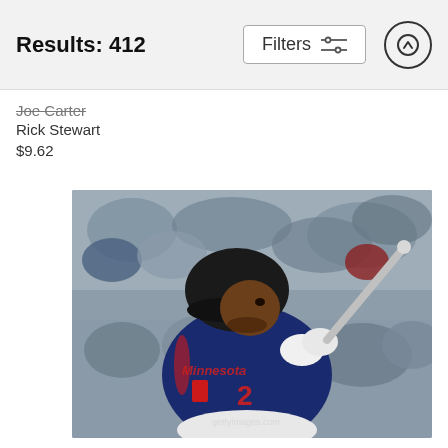Results: 412
Filters
Joe Carter
Rick Stewart
$9.62
[Figure (photo): Baseball player wearing a Minnesota Twins navy blue jersey with number 2, holding a bat in a batting stance, with blurred crowd in background.]